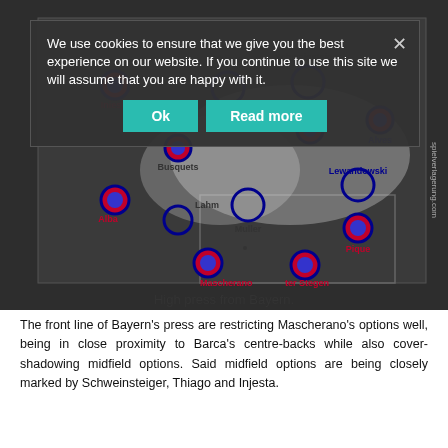[Figure (other): Tactical football diagram showing player positions for Barcelona vs Bayern Munich high press scenario. Players shown: Iniesta, Thiago, Schweinsteiger, Alves, Busquets, Rakitic, Lewandowski, Muller, Lahm, Alba, Pique, Mascherano, ter Stegen. Blue open circles represent Bayern players, red/blue filled circles represent Barcelona players. A cookie consent overlay covers the top portion with Ok and Read more buttons.]
High press from Bayern.
The front line of Bayern's press are restricting Mascherano's options well, being in close proximity to Barca's centre-backs while also cover-shadowing midfield options. Said midfield options are being closely marked by Schweinsteiger, Thiago and Injesta.